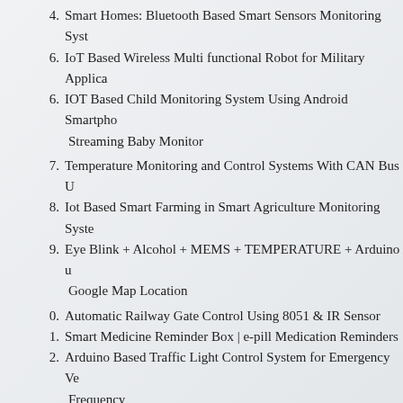4.   Smart Homes: Bluetooth Based Smart Sensors Monitoring Syst…
6.   IoT Based Wireless Multi functional Robot for Military Applica…
6.   IOT Based Child Monitoring System Using Android Smartpho… Streaming Baby Monitor
7.   Temperature Monitoring and Control Systems With CAN Bus U…
8.   Iot Based Smart Farming in Smart Agriculture Monitoring Syste…
9.   Eye Blink + Alcohol + MEMS + TEMPERATURE + Arduino u… Google Map Location
0.   Automatic Railway Gate Control Using 8051 & IR Sensor
1.   Smart Medicine Reminder Box | e-pill Medication Reminders
2.   Arduino Based Traffic Light Control System for Emergency Ve… Frequency
3.   Wireless Smart Trolley for Shopping Malls using RFID and ZI…
4.   Communication Between Two HC-05 Bluetooth Module As Ma…